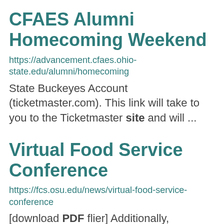CFAES Alumni Homecoming Weekend
https://advancement.cfaes.ohio-state.edu/alumni/homecoming
State Buckeyes Account (ticketmaster.com). This link will take to you to the Ticketmaster site and will ...
Virtual Food Service Conference
https://fcs.osu.edu/news/virtual-food-service-conference
[download PDF flier] Additionally, attendees will: Gain understanding of an approved school lunch program ...